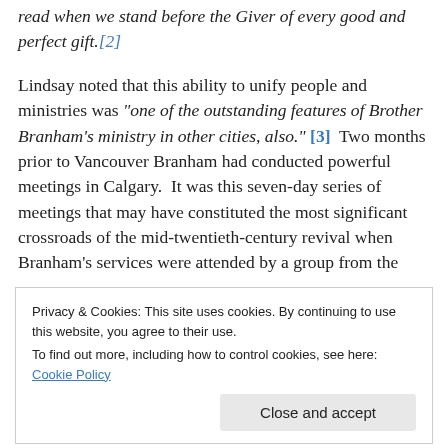read when we stand before the Giver of every good and perfect gift.[2]
Lindsay noted that this ability to unify people and ministries was "one of the outstanding features of Brother Branham's ministry in other cities, also." [3]  Two months prior to Vancouver Branham had conducted powerful meetings in Calgary.  It was this seven-day series of meetings that may have constituted the most significant crossroads of the mid-twentieth-century revival when Branham's services were attended by a group from the
Privacy & Cookies: This site uses cookies. By continuing to use this website, you agree to their use.
To find out more, including how to control cookies, see here: Cookie Policy
Close and accept